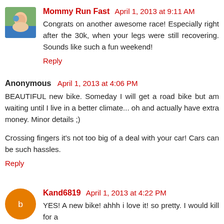Mommy Run Fast  April 1, 2013 at 9:11 AM
Congrats on another awesome race! Especially right after the 30k, when your legs were still recovering. Sounds like such a fun weekend!
Reply
Anonymous  April 1, 2013 at 4:06 PM
BEAUTIFUL new bike. Someday I will get a road bike but am waiting until I live in a better climate... oh and actually have extra money. Minor details ;)
Crossing fingers it's not too big of a deal with your car! Cars can be such hassles.
Reply
Kand6819  April 1, 2013 at 4:22 PM
YES! A new bike! ahhh i love it! so pretty. I would kill for a